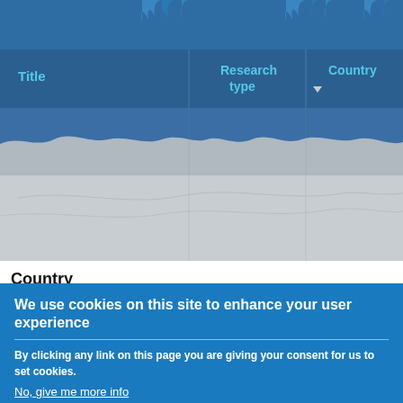[Figure (screenshot): Screenshot of a database/research map interface showing a table header with columns: Title, Research type, Country, overlaid on a topographic/geographic map background with blue header and gray terrain area.]
Country
Afghanistan
We use cookies on this site to enhance your user experience
By clicking any link on this page you are giving your consent for us to set cookies.
No, give me more info
OK, I agree